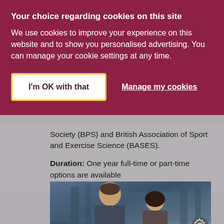Your choice regarding cookies on this site
We use cookies to improve your experience on this website and to show you personalised advertising. You can manage your cookie settings at any time.
I'm OK with that
Manage my cookies
Society (BPS) and British Association of Sport and Exercise Science (BASES).
Duration: One year full-time or part-time options are available
Level: Postgraduate
[Figure (photo): Two people in a gym or sports science setting, one male and one female, looking downward, with blue/grey equipment in the background]